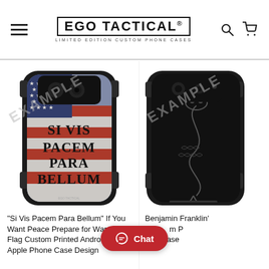EGO TACTICAL - LIMITED EDITION CUSTOM PHONE CASES
[Figure (photo): Phone case with American flag background and text 'Si Vis Pacem Para Bellum' with EXAMPLE watermark]
"Si Vis Pacem Para Bellum" If You Want Peace Prepare for War on US Flag Custom Printed Android & Apple Phone Case Design
[Figure (photo): Black phone case with snake design and EXAMPLE watermark, partially cropped]
Benjamin Franklin's ... on ... m P... Apple ... ase...